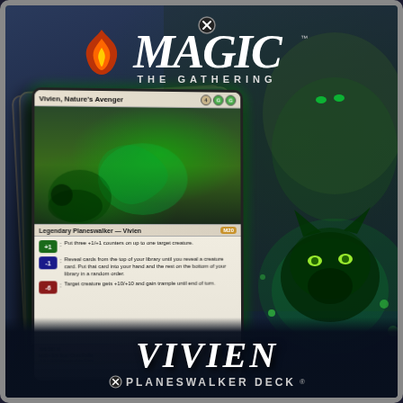[Figure (photo): Magic: The Gathering product box for the Vivien Planeswalker Deck. The box shows the Magic: The Gathering logo at top, Vivien character art on the right (a dark-skinned elf woman with glowing green eyes and a bow), a large featured card 'Vivien, Nature's Avenger' in the center-left, green glowing wolf art in the lower right, and 'VIVIEN PLANESWALKER DECK' text at the bottom.]
MAGIC THE GATHERING
Vivien, Nature's Avenger
Legendary Planeswalker — Vivien
+1 : Put three +1/+1 counters on up to one target creature.
-1 : Reveal cards from the top of your library until you reveal a creature card. Put that card into your hand and the rest on the bottom of your library in a random order.
-6 : Target creature gets +10/+10 and gain trample until end of turn.
VIVIEN
PLANESWALKER DECK®